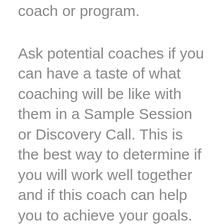coach or program.
Ask potential coaches if you can have a taste of what coaching will be like with them in a Sample Session or Discovery Call. This is the best way to determine if you will work well together and if this coach can help you to achieve your goals.
Even if it's short, this will give you an idea if you feel good talking with this person and truly believe they can support you. Sometimes you want someone who pushes you, sometimes you want someone who nurtures you. Either way — find the coach that